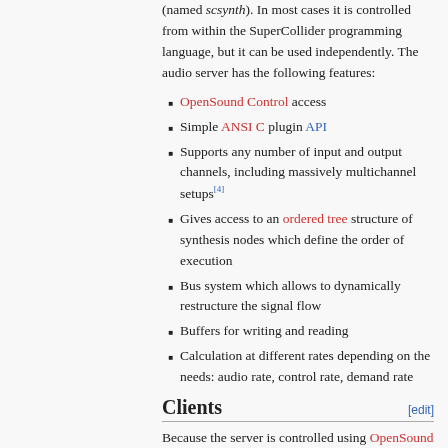(named scsynth). In most cases it is controlled from within the SuperCollider programming language, but it can be used independently. The audio server has the following features:
OpenSound Control access
Simple ANSI C plugin API
Supports any number of input and output channels, including massively multichannel setups[4]
Gives access to an ordered tree structure of synthesis nodes which define the order of execution
Bus system which allows to dynamically restructure the signal flow
Buffers for writing and reading
Calculation at different rates depending on the needs: audio rate, control rate, demand rate
Clients
Because the server is controlled using OpenSound Control, a variety of applications can be used to control the server.